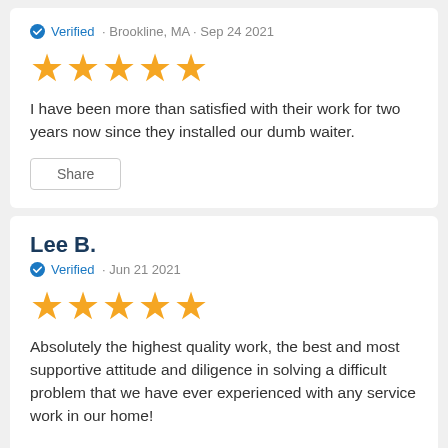Verified · Brookline, MA · Sep 24 2021
[Figure (other): 5 orange stars rating]
I have been more than satisfied with their work for two years now since they installed our dumb waiter.
Share
Lee B.
Verified · Jun 21 2021
[Figure (other): 5 orange stars rating]
Absolutely the highest quality work, the best and most supportive attitude and diligence in solving a difficult problem that we have ever experienced with any service work in our home!